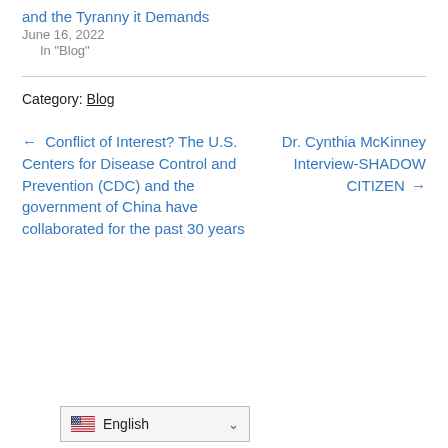and the Tyranny it Demands
June 16, 2022
In "Blog"
Category: Blog
← Conflict of Interest? The U.S. Centers for Disease Control and Prevention (CDC) and the government of China have collaborated for the past 30 years
Dr. Cynthia McKinney Interview-SHADOW CITIZEN →
English